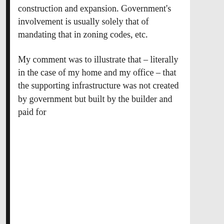construction and expansion. Government's involvement is usually solely that of mandating that in zoning codes, etc.
My comment was to illustrate that – literally in the case of my home and my office – that the supporting infrastructure was not created by government but built by the builder and paid for